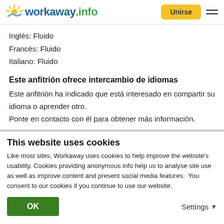workaway.info — Unirse
Inglés: Fluido
Francés: Fluido
Italiano: Fluido
Este anfitrión ofrece intercambio de idiomas
Este anfitrión ha indicado que está interesado en compartir su idioma o aprender otro. Ponte en contacto con él para obtener más información.
This website uses cookies
Like most sites, Workaway uses cookies to help improve the website's usability. Cookies providing anonymous info help us to analyse site use as well as improve content and present social media features.  You consent to our cookies if you continue to use our website.
OK    Settings